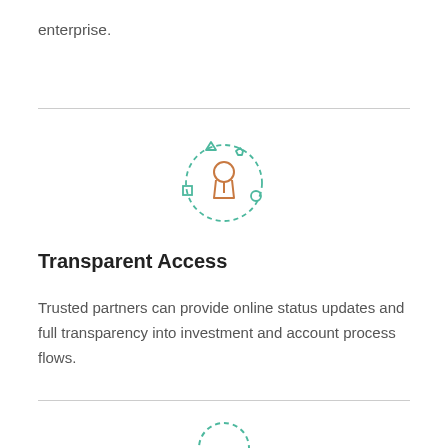enterprise.
[Figure (illustration): A keyhole icon in orange outline, surrounded by a dashed green circle, with small geometric shapes (triangle, pentagon, square, circle) at cardinal positions around the circle in teal/orange colors.]
Transparent Access
Trusted partners can provide online status updates and full transparency into investment and account process flows.
[Figure (illustration): Bottom partial illustration, a circular icon partially visible at the bottom of the page.]